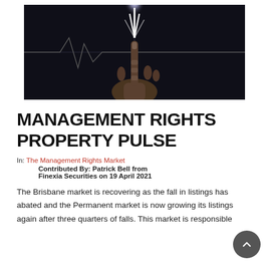[Figure (photo): Dark dramatic photo of a hand with index finger pointing upward with a bright light emanating from the fingertip, against a dark background with horizontal lines suggesting a heartbeat/pulse graphic]
MANAGEMENT RIGHTS PROPERTY PULSE
In: The Management Rights Market
Contributed By: Patrick Bell from Finexia Securities on 19 April 2021
The Brisbane market is recovering as the fall in listings has abated and the Permanent market is now growing its listings again after three quarters of falls. This market is responsible